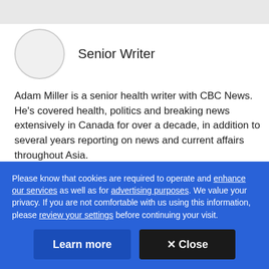[Figure (photo): Circular avatar/profile photo placeholder (gray circle) on a white background]
Senior Writer
Adam Miller is a senior health writer with CBC News. He's covered health, politics and breaking news extensively in Canada for over a decade, in addition to several years reporting on news and current affairs throughout Asia.
@adammiller
Please know that cookies are required to operate and enhance our services as well as for advertising purposes. We value your privacy. If you are not comfortable with us using this information, please review your settings before continuing your visit.
Learn more
✕ Close